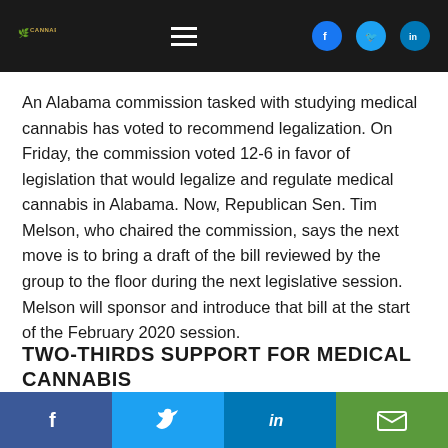CANNABIST [logo] | hamburger menu | Facebook | Twitter | LinkedIn
An Alabama commission tasked with studying medical cannabis has voted to recommend legalization. On Friday, the commission voted 12-6 in favor of legislation that would legalize and regulate medical cannabis in Alabama. Now, Republican Sen. Tim Melson, who chaired the commission, says the next move is to bring a draft of the bill reviewed by the group to the floor during the next legislative session. Melson will sponsor and introduce that bill at the start of the February 2020 session.
TWO-THIRDS SUPPORT FOR MEDICAL CANNABIS AMONG STUDY COMMISSION
Share bar: Facebook | Twitter | LinkedIn | Email